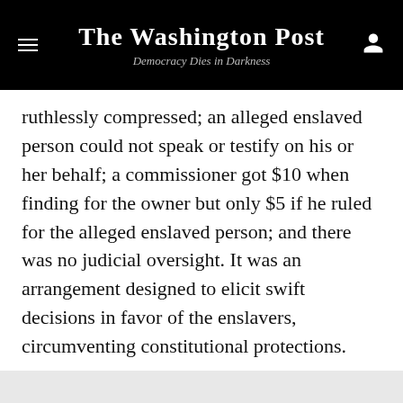The Washington Post
Democracy Dies in Darkness
ruthlessly compressed; an alleged enslaved person could not speak or testify on his or her behalf; a commissioner got $10 when finding for the owner but only $5 if he ruled for the alleged enslaved person; and there was no judicial oversight. It was an arrangement designed to elicit swift decisions in favor of the enslavers, circumventing constitutional protections.
S.B. 8 likewise stacks the deck in favor of the people filing lawsuits. Among other things, it does not require a plaintiff to prove the defendant intended to help someone obtain an abortion; it places critical burdens